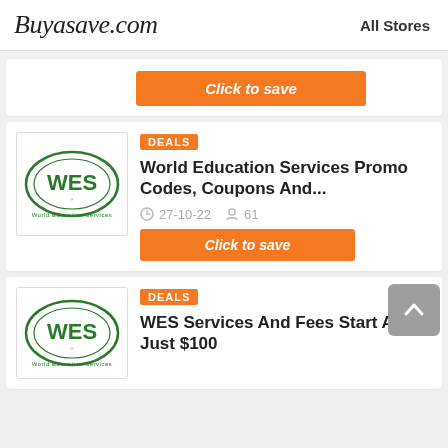Buyasave.com   All Stores
Click to save
DEALS
World Education Services Promo Codes, Coupons And...
27-10-22   61
Click to save
DEALS
WES Services And Fees Start At Just $100
[Figure (logo): WES World Education Services logo — green oval with WES text inside, company name below]
[Figure (logo): WES World Education Services logo — green oval with WES text inside, company name below]